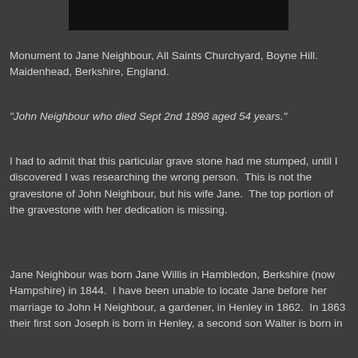[Figure (photo): Top portion of a gravestone photograph, partially visible as a dark rectangular image at the top of the page]
Monument to Jane Neighbour, All Saints Churchyard, Boyne Hill. Maidenhead, Berkshire, England.
"John Neighbour who died Sept 2nd 1898 aged 54 years."
I had to admit that this particular grave stone had me stumped, until I discovered I was researching the wrong person.  This is not the gravestone of John Neighbour, but his wife Jane.  The top portion of the gravestone with her dedication is missing.
Jane Neighbour was born Jane Willis in Hambledon, Berkshire (now Hampshire) in 1844.  I have been unable to locate Jane before her marriage to John H Neighbour, a gardener, in Henley in 1862.  In 1863 their first son Joseph is born in Henley, a second son Walter is born in